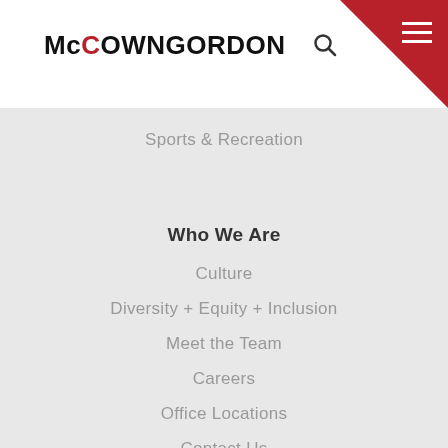McCOWNGORDON
Sports & Recreation
Who We Are
Culture
Diversity + Equity + Inclusion
Meet the Team
Careers
Office Locations
Contact Us
Internship Program
Transparency in Coverage